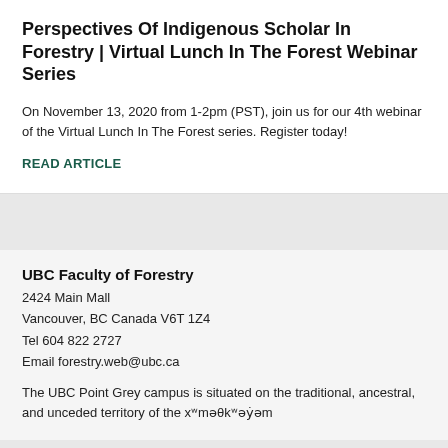Perspectives Of Indigenous Scholar In Forestry | Virtual Lunch In The Forest Webinar Series
On November 13, 2020 from 1-2pm (PST), join us for our 4th webinar of the Virtual Lunch In The Forest series. Register today!
READ ARTICLE
UBC Faculty of Forestry
2424 Main Mall
Vancouver, BC Canada V6T 1Z4
Tel 604 822 2727
Email forestry.web@ubc.ca
The UBC Point Grey campus is situated on the traditional, ancestral, and unceded territory of the xʷməθkʷəy̓əm